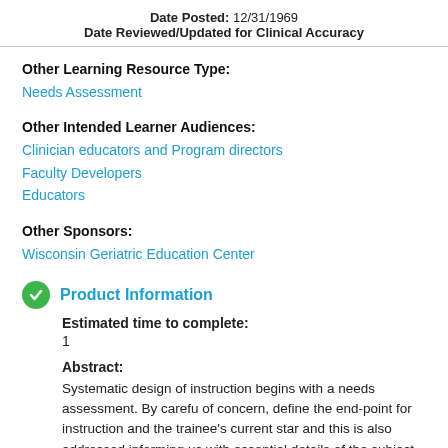Date Posted: 12/31/1969
Date Reviewed/Updated for Clinical Accuracy
Other Learning Resource Type:
Needs Assessment
Other Intended Learner Audiences:
Clinician educators and Program directors
Faculty Developers
Educators
Other Sponsors:
Wisconsin Geriatric Education Center
Product Information
Estimated time to complete:
1
Abstract:
Systematic design of instruction begins with a needs assessment. By careful of concern, define the end-point for instruction and the trainee's current star and this is also addressed informing us with essential details of the subject